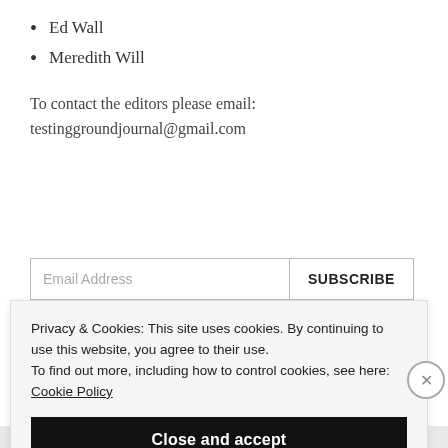Ed Wall
Meredith Will
To contact the editors please email:
testinggroundjournal@gmail.com
Email Address
SUBSCRIBE
Privacy & Cookies: This site uses cookies. By continuing to use this website, you agree to their use.
To find out more, including how to control cookies, see here: Cookie Policy
Close and accept